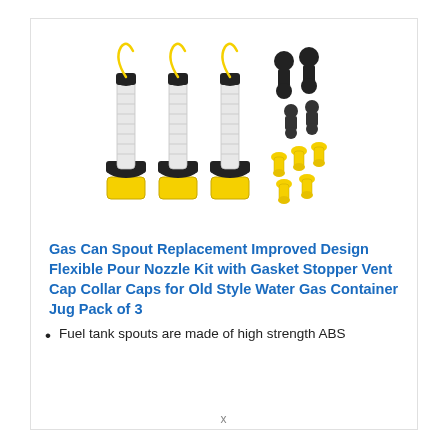[Figure (photo): Three gas can spout replacement nozzles with black caps and yellow flexible tubes, alongside black vent caps, yellow stoppers, and yellow collar caps arranged on a white background]
Gas Can Spout Replacement Improved Design Flexible Pour Nozzle Kit with Gasket Stopper Vent Cap Collar Caps for Old Style Water Gas Container Jug Pack of 3
Fuel tank spouts are made of high strength ABS